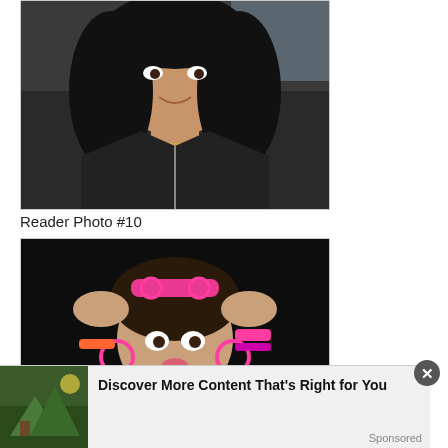[Figure (photo): A woman with dark wavy hair wearing a black leather jacket and a gold name necklace, taking a selfie in a car.]
Reader Photo #10
[Figure (photo): A woman making a kissing face while holding pink sunglasses on her head, wearing pink hoop earrings and colorful bracelets against a dark background.]
Discover More Content That's Right for You
Sponsored